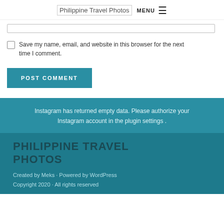Philippine Travel Photos  MENU ☰
[input field / text box]
Save my name, email, and website in this browser for the next time I comment.
POST COMMENT
Instagram has returned empty data. Please authorize your Instagram account in the plugin settings .
PHILIPPINE TRAVEL PHOTOS
Created by Meks · Powered by WordPress
Copyright 2020 · All rights reserved